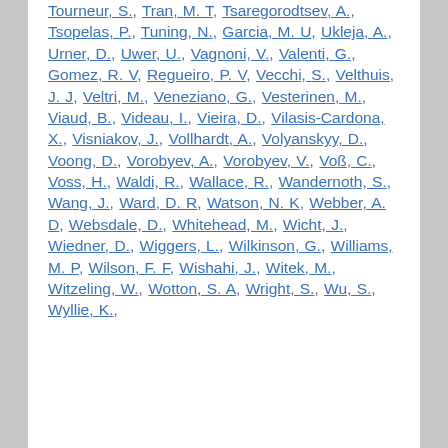Tourneur, S., Tran, M. T, Tsaregorodtsev, A., Tsopelas, P., Tuning, N., Garcia, M. U, Ukleja, A., Urner, D., Uwer, U., Vagnoni, V., Valenti, G., Gomez, R. V, Regueiro, P. V, Vecchi, S., Velthuis, J. J, Veltri, M., Veneziano, G., Vesterinen, M., Viaud, B., Videau, I., Vieira, D., Vilasis-Cardona, X., Visniakov, J., Vollhardt, A., Volyanskyy, D., Voong, D., Vorobyev, A., Vorobyev, V., Voß, C., Voss, H., Waldi, R., Wallace, R., Wandernoth, S., Wang, J., Ward, D. R, Watson, N. K, Webber, A. D, Websdale, D., Whitehead, M., Wicht, J., Wiedner, D., Wiggers, L., Wilkinson, G., Williams, M. P, Wilson, F. F, Wishahi, J., Witek, M., Witzeling, W., Wotton, S. A, Wright, S., Wu, S., Wyllie, K.,